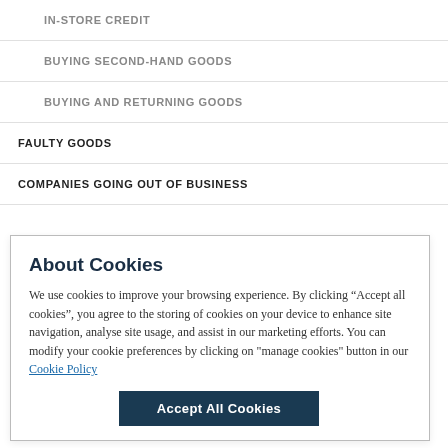IN-STORE CREDIT
BUYING SECOND-HAND GOODS
BUYING AND RETURNING GOODS
FAULTY GOODS
COMPANIES GOING OUT OF BUSINESS
About Cookies
We use cookies to improve your browsing experience. By clicking “Accept all cookies”, you agree to the storing of cookies on your device to enhance site navigation, analyse site usage, and assist in our marketing efforts. You can modify your cookie preferences by clicking on "manage cookies" button in our Cookie Policy
Accept All Cookies